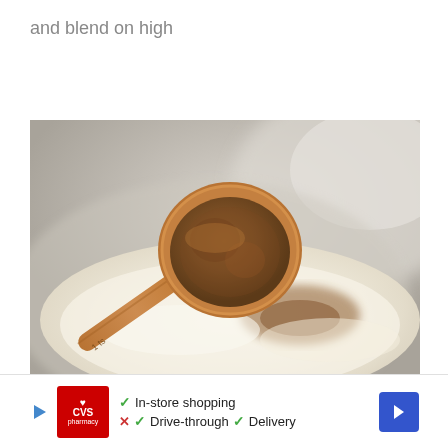and blend on high
[Figure (photo): Close-up photo of a copper measuring spoon (1 tsp) filled with brown spice powder being held over a stainless steel mixing bowl containing flour and some already-poured spice.]
[Figure (other): CVS Pharmacy advertisement banner showing CVS logo, checkmarks for In-store shopping, Drive-through, and Delivery options, with navigation arrows on sides.]